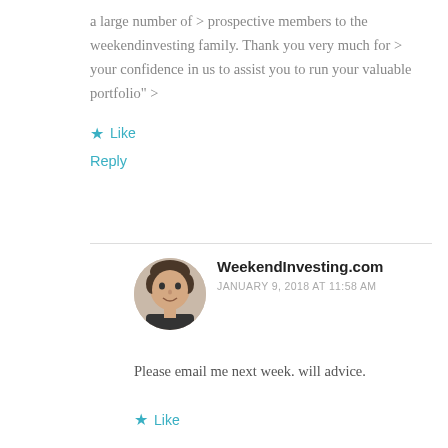a large number of > prospective members to the weekendinvesting family. Thank you very much for > your confidence in us to assist you to run your valuable portfolio" >
Like
Reply
WeekendInvesting.com
JANUARY 9, 2018 AT 11:58 AM
Please email me next week. will advice.
Like